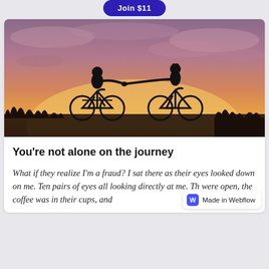Join $11
[Figure (photo): Silhouette of two people riding bicycles at sunset, reaching out to hold hands against a dramatic orange and purple cloudy sky]
You're not alone on the journey
What if they realize I'm a fraud? I sat there as their eyes looked down on me. Ten pairs of eyes all looking directly at me. Th were open, the coffee was in their cups, and
Made in Webflow